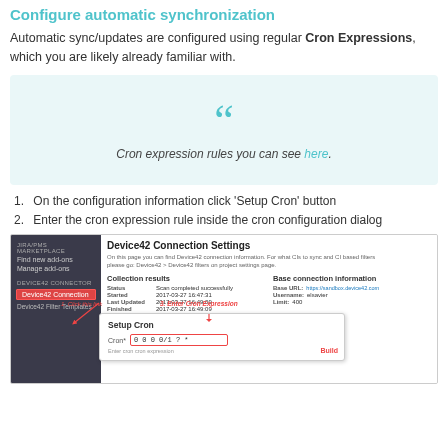Configure automatic synchronization
Automatic sync/updates are configured using regular Cron Expressions, which you are likely already familiar with.
[Figure (screenshot): Quote box with large teal quotation marks and italic text: 'Cron expression rules you can see here.' on a light teal background]
On the configuration information click 'Setup Cron' button
Enter the cron expression rule inside the cron configuration dialog
[Figure (screenshot): Screenshot of Device42 Connection Settings page showing Collection results, Base connection information, and a Setup Cron dialog with a text field showing '0 0 0 0/1 ? *' and annotated arrows.]